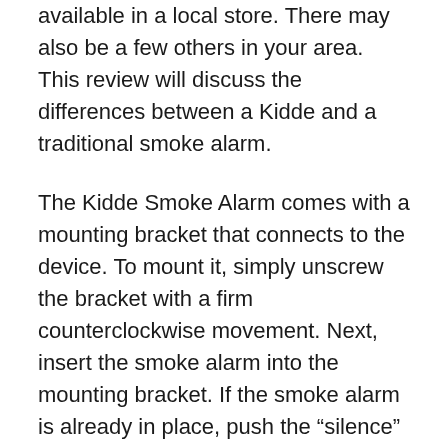available in a local store. There may also be a few others in your area. This review will discuss the differences between a Kidde and a traditional smoke alarm.
The Kidde Smoke Alarm comes with a mounting bracket that connects to the device. To mount it, simply unscrew the bracket with a firm counterclockwise movement. Next, insert the smoke alarm into the mounting bracket. If the smoke alarm is already in place, push the “silence” button to silence it. Push the “Push Test Button” button to conduct a quick diagnostic check if the alarm sounds. The device will then flash red and sound the horn, indicating that it has detected smoke.